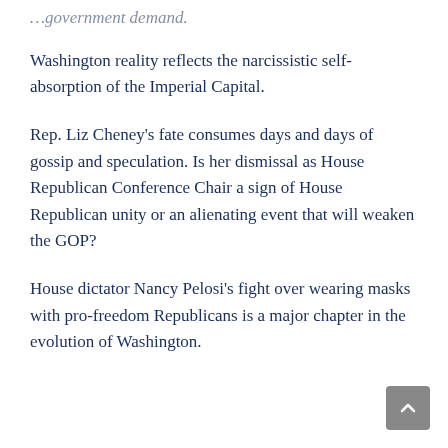…government demand.
Washington reality reflects the narcissistic self-absorption of the Imperial Capital.
Rep. Liz Cheney's fate consumes days and days of gossip and speculation. Is her dismissal as House Republican Conference Chair a sign of House Republican unity or an alienating event that will weaken the GOP?
House dictator Nancy Pelosi's fight over wearing masks with pro-freedom Republicans is a major chapter in the evolution of Washington.